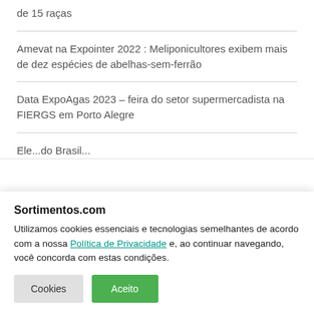de 15 raças
Amevat na Expointer 2022 : Meliponicultores exibem mais de dez espécies de abelhas-sem-ferrão
Data ExpoAgas 2023 – feira do setor supermercadista na FIERGS em Porto Alegre
Ele...do Brasil...
Sortimentos.com
Utilizamos cookies essenciais e tecnologias semelhantes de acordo com a nossa Política de Privacidade e, ao continuar navegando, você concorda com estas condições.
Cookies | Aceito